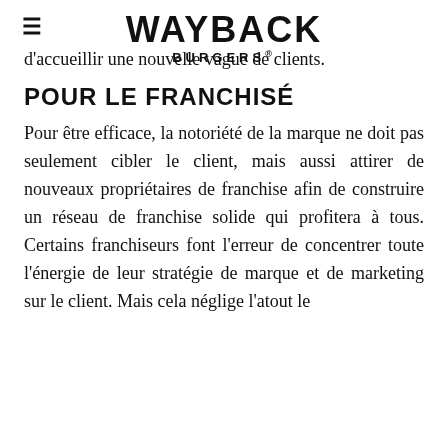≡ WAYBACK BURGERS®
d'accueillir une nouvelle vague de clients.
POUR LE FRANCHISÉ
Pour être efficace, la notoriété de la marque ne doit pas seulement cibler le client, mais aussi attirer de nouveaux propriétaires de franchise afin de construire un réseau de franchise solide qui profitera à tous. Certains franchiseurs font l'erreur de concentrer toute l'énergie de leur stratégie de marque et de marketing sur le client. Mais cela néglige l'atout le